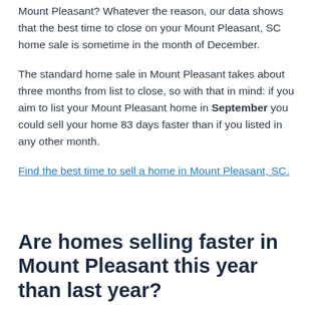Mount Pleasant? Whatever the reason, our data shows that the best time to close on your Mount Pleasant, SC home sale is sometime in the month of December.
The standard home sale in Mount Pleasant takes about three months from list to close, so with that in mind: if you aim to list your Mount Pleasant home in September you could sell your home 83 days faster than if you listed in any other month.
Find the best time to sell a home in Mount Pleasant, SC.
Are homes selling faster in Mount Pleasant this year than last year?